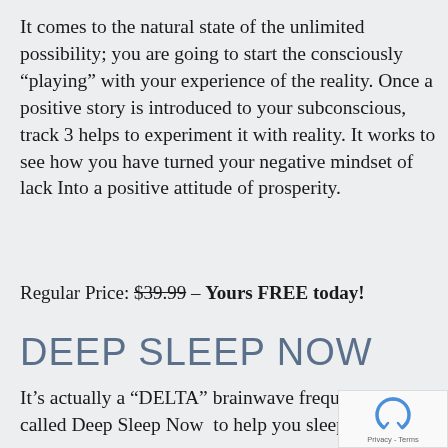It comes to the natural state of the unlimited possibility; you are going to start the consciously “playing” with your experience of the reality. Once a positive story is introduced to your subconscious, track 3 helps to experiment it with reality. It works to see how you have turned your negative mindset of lack Into a positive attitude of prosperity.
Regular Price: $39.99 – Yours FREE today!
DEEP SLEEP NOW
It’s actually a “DELTA” brainwave frequency track called Deep Sleep Now  to help you sleep.